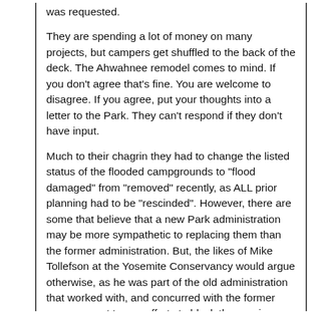was requested.
They are spending a lot of money on many projects, but campers get shuffled to the back of the deck. The Ahwahnee remodel comes to mind. If you don't agree that's fine. You are welcome to disagree. If you agree, put your thoughts into a letter to the Park. They can't respond if they don't have input.
Much to their chagrin they had to change the listed status of the flooded campgrounds to "flood damaged" from "removed" recently, as ALL prior planning had to be "rescinded". However, there are some that believe that a new Park administration may be more sympathetic to replacing them than the former administration. But, the likes of Mike Tollefson at the Yosemite Conservancy would argue otherwise, as he was part of the old administration that worked with, and concurred with the former management teams efforts to block the repairs.
These arguments about these being in flood zones are meaningless. Most of the campgrounds are in flood zones. Much of the old flooded campgrounds were outlined by the 1980 General Management Plan for pull back from the river, a plan which I